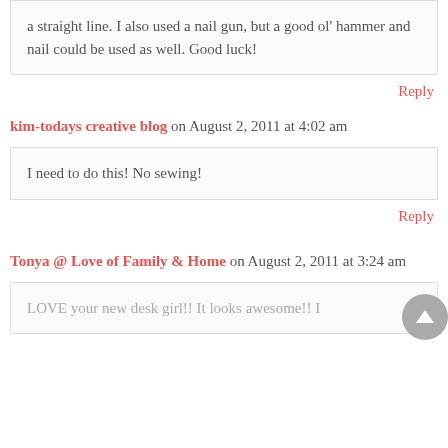a straight line. I also used a nail gun, but a good ol' hammer and nail could be used as well. Good luck!
Reply
kim-todays creative blog on August 2, 2011 at 4:02 am
I need to do this! No sewing!
Reply
Tonya @ Love of Family & Home on August 2, 2011 at 3:24 am
LOVE your new desk girl!! It looks awesome!! I